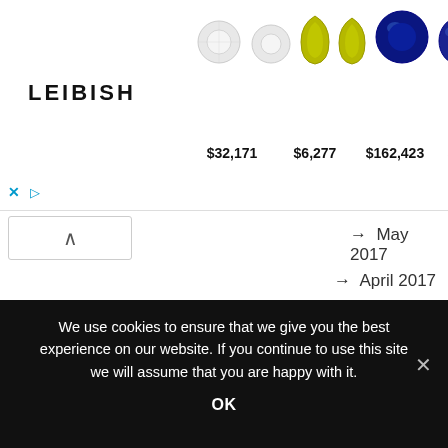[Figure (infographic): Leibish jewelry advertisement banner showing gem images (diamonds, green gems, blue sapphires, blue sapphires pair, pink sapphire) with prices $32,171, $6,277, $162,423, $284,043, $687,353 and the Leibish logo]
→ May 2017
→ April 2017
→ March 2017
→ January 2017
→ December 2016
→ November 2016
→ October 2016
→ September 2016
→ August 2016
→ July 2016
We use cookies to ensure that we give you the best experience on our website. If you continue to use this site we will assume that you are happy with it.
OK